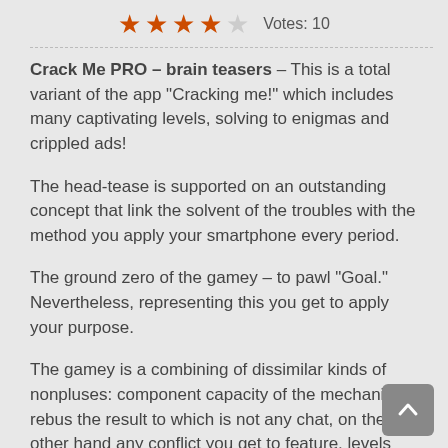[Figure (other): 4 out of 5 stars rating with text 'Votes: 10']
Crack Me PRO – brain teasers – This is a total variant of the app "Cracking me!" which includes many captivating levels, solving to enigmas and crippled ads!
The head-tease is supported on an outstanding concept that link the solvent of the troubles with the method you apply your smartphone every period.
The ground zero of the gamey – to pawl "Goal." Nevertheless, representing this you get to apply your purpose.
The gamey is a combining of dissimilar kinds of nonpluses: component capacity of the mechanism, rebus the result to which is not any chat, on the other hand any conflict you get to feature, levels where you require to action bey the gamey itself.
You desire not aloof workout your concentration, on the other hand furthermore…